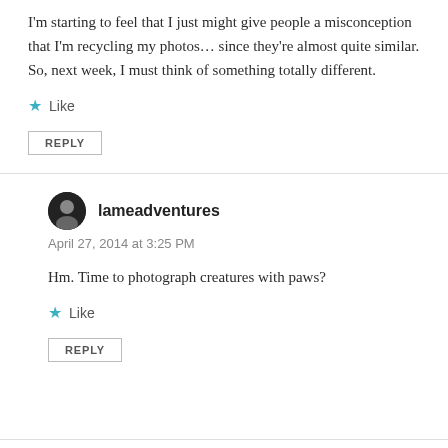I'm starting to feel that I just might give people a misconception that I'm recycling my photos… since they're almost quite similar. So, next week, I must think of something totally different.
Like
REPLY
lameadventures
April 27, 2014 at 3:25 PM
Hm. Time to photograph creatures with paws?
Like
REPLY